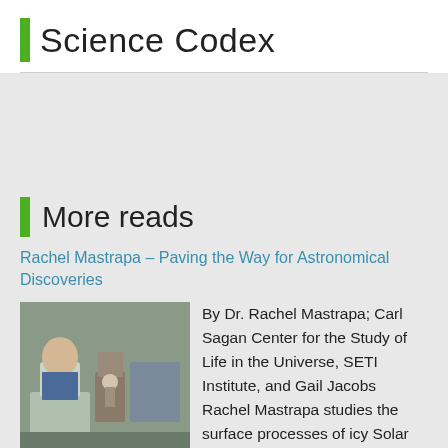Science Codex
More reads
Rachel Mastrapa – Paving the Way for Astronomical Discoveries
[Figure (photo): Photo of Dr. Rachel Mastrapa in a laboratory setting]
By Dr. Rachel Mastrapa; Carl Sagan Center for the Study of Life in the Universe, SETI Institute, and Gail Jacobs Rachel Mastrapa studies the surface processes of icy Solar System bodies by interpreting their infrared spectra. The majority of her work involves performing the ground truth measurements in the laboratory including calculating the complex indices of